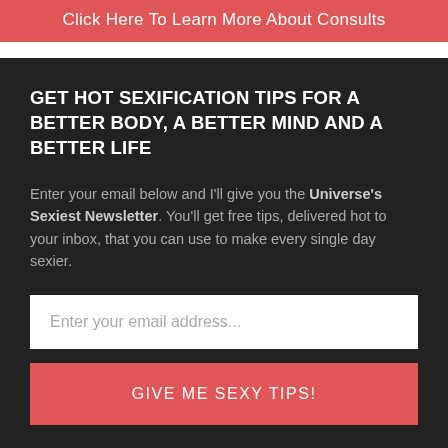Click Here To Learn More About Consults
GET HOT SEXIFICATION TIPS FOR A BETTER BODY, A BETTER MIND AND A BETTER LIFE
Enter your email below and I'll give you the Universe's Sexiest Newsletter. You'll get free tips, delivered hot to your inbox, that you can use to make every single day sexier.
Enter your email address...
GIVE ME SEXY TIPS!